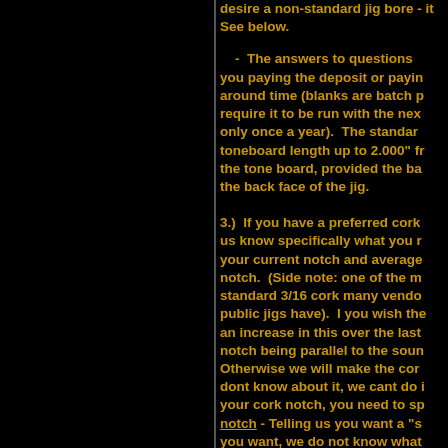desire a non-standard jig bore - it See below.
- The answers to questions you paying the deposit or paying around time (blanks are batch p require it to be run with the next only once a year). The standard toneboard length up to 2.000" fr the tone board, provided the ba the back face of the jig.
3.) If you have a preferred cork us know specifically what you r your current notch and average notch. (Side note: one of the m standard 3/16 cork many vendo public jigs have). I you wish the an increase in this over the last notch being parallel to the soun Otherwise we will make the cor dont know about it, we cant do i your cork notch, you need to sp notch - Telling us you want a "s you want, we do not know what